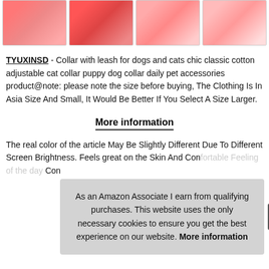[Figure (photo): Four product thumbnail images of colorful dog/cat collars and leashes arranged in a horizontal strip]
TYUXINSD - Collar with leash for dogs and cats chic classic cotton adjustable cat collar puppy dog collar daily pet accessories product@note: please note the size before buying, The Clothing Is In Asia Size And Small, It Would Be Better If You Select A Size Larger.
More information
The real color of the article May Be Slightly Different Due To Different Screen Brightness. Feels great on the Skin And Comfortable. Cotton comfortable convenient Stop Con
As an Amazon Associate I earn from qualifying purchases. This website uses the only necessary cookies to ensure you get the best experience on our website. More information